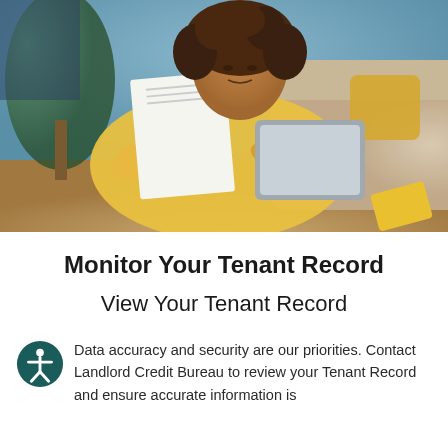[Figure (photo): Woman with curly hair wearing a yellow top, lying on the floor reading a paper document while holding a tablet, with a couch and home interior in the background]
Monitor Your Tenant Record
View Your Tenant Record
Data accuracy and security are our priorities. Contact Landlord Credit Bureau to review your Tenant Record and ensure accurate information is